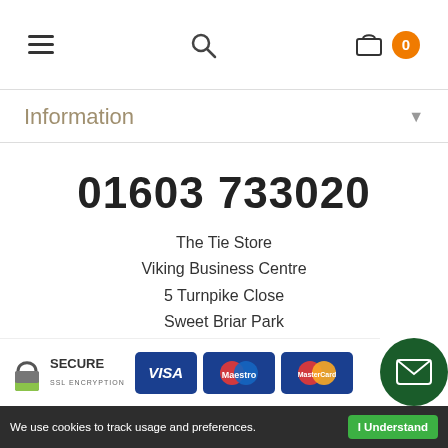[Figure (screenshot): Navigation bar with hamburger menu, search icon, basket icon and orange badge showing 0]
Information
01603 733020
The Tie Store
Viking Business Centre
5 Turnpike Close
Sweet Briar Park
Norwich
NR6 5BD
[Figure (infographic): Secure SSL Encryption badge with padlock icon, followed by VISA, Maestro, and MasterCard payment logos]
We use cookies to track usage and preferences.  I Understand